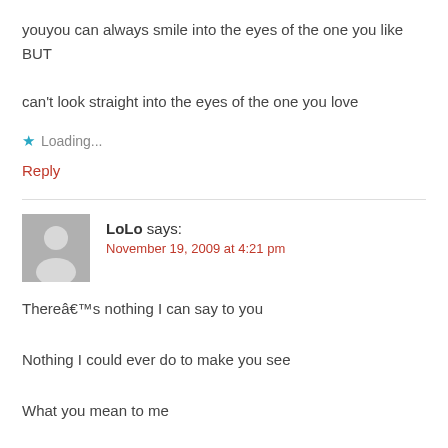youyou can always smile into the eyes of the one you like BUT
can't look straight into the eyes of the one you love
★ Loading...
Reply
LoLo says:
November 19, 2009 at 4:21 pm
Thereâ€™s nothing I can say to you
Nothing I could ever do to make you see
What you mean to me
All the pain the tears they cry